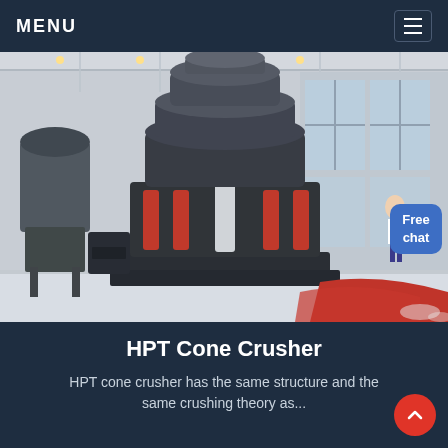MENU
[Figure (photo): HPT Cone Crusher machine in a large industrial factory hall with high windows. The large black and red/orange hydraulic cone crusher is prominently shown in the center of a factory floor. A 'Free chat' button overlay appears in the upper right of the image.]
HPT Cone Crusher
HPT cone crusher has the same structure and the same crushing theory as...